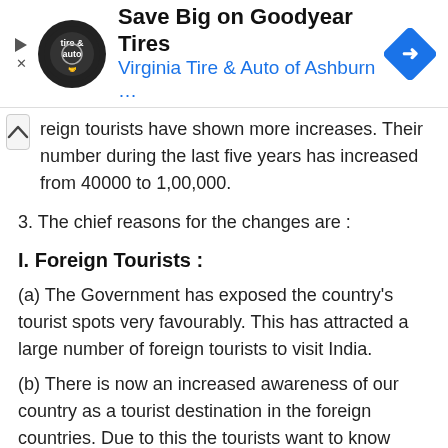[Figure (other): Advertisement banner for Virginia Tire & Auto of Ashburn featuring Goodyear Tires logo and navigation arrow icon]
reign tourists have shown more increases. Their number during the last five years has increased from 40000 to 1,00,000.
3. The chief reasons for the changes are :
I. Foreign Tourists :
(a) The Government has exposed the country's tourist spots very favourably. This has attracted a large number of foreign tourists to visit India.
(b) There is now an increased awareness of our country as a tourist destination in the foreign countries. Due to this the tourists want to know more about India and its age-old